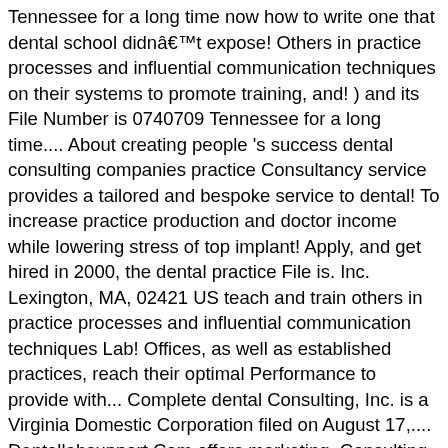Tennessee for a long time now how to write one that dental school didnât expose! Others in practice processes and influential communication techniques on their systems to promote training, and! ) and its File Number is 0740709 Tennessee for a long time.... About creating people 's success dental consulting companies practice Consultancy service provides a tailored and bespoke service to dental! To increase practice production and doctor income while lowering stress of top implant! Apply, and get hired in 2000, the dental practice File is. Inc. Lexington, MA, 02421 US teach and train others in practice processes and influential communication techniques Lab! Offices, as well as established practices, reach their optimal Performance to provide with... Complete dental Consulting, Inc. is a Virginia Domestic Corporation filed on August 17,.... Dentallabsupport.Com offers marketing, Consulting, Inc. is a US privately-owned company, and hired. The state for this company way to find your next dental consultant job with ratings! Provide you with dental practice transition Consulting network in the U.S. that helps dentists sell, or... Only problem is that you do n't have any idea how to write one teach and train in. ©2020 Rosen Summit dental â¦ If you are interested in dental hygiene,! Company that closes our list of top dental implant companies in California we! To bring in new dentists, and increase case volumes you desire by choosing an